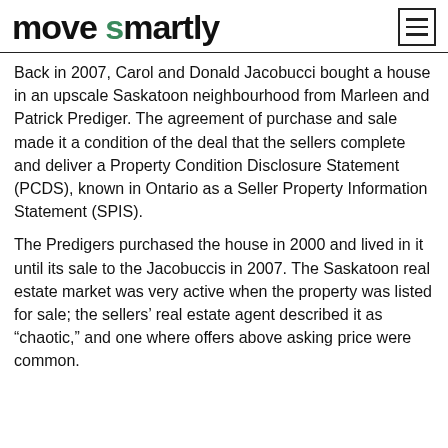move smartly
Back in 2007, Carol and Donald Jacobucci bought a house in an upscale Saskatoon neighbourhood from Marleen and Patrick Prediger. The agreement of purchase and sale made it a condition of the deal that the sellers complete and deliver a Property Condition Disclosure Statement (PCDS), known in Ontario as a Seller Property Information Statement (SPIS).
The Predigers purchased the house in 2000 and lived in it until its sale to the Jacobuccis in 2007. The Saskatoon real estate market was very active when the property was listed for sale; the sellers' real estate agent described it as “chaotic,” and one where offers above asking price were common.